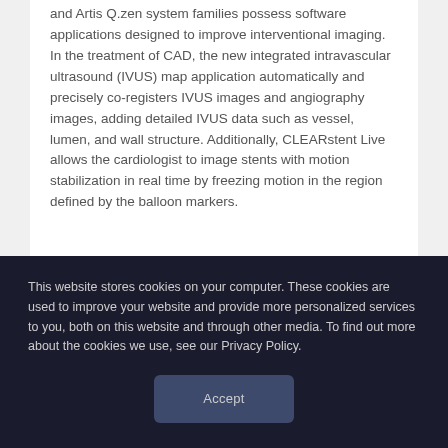and Artis Q.zen system families possess software applications designed to improve interventional imaging. In the treatment of CAD, the new integrated intravascular ultrasound (IVUS) map application automatically and precisely co-registers IVUS images and angiography images, adding detailed IVUS data such as vessel, lumen, and wall structure. Additionally, CLEARstent Live allows the cardiologist to image stents with motion stabilization in real time by freezing motion in the region defined by the balloon markers.
This website stores cookies on your computer. These cookies are used to improve your website and provide more personalized services to you, both on this website and through other media. To find out more about the cookies we use, see our Privacy Policy.